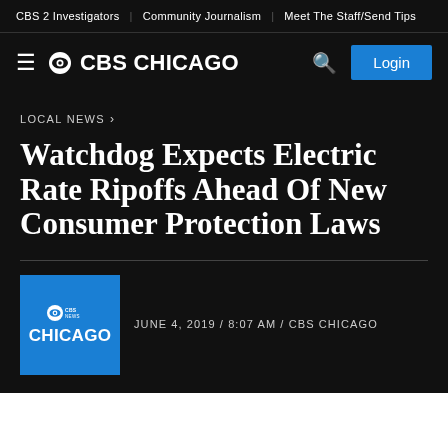CBS 2 Investigators | Community Journalism | Meet The Staff/Send Tips
CBS CHICAGO
LOCAL NEWS ›
Watchdog Expects Electric Rate Ripoffs Ahead Of New Consumer Protection Laws
JUNE 4, 2019 / 8:07 AM / CBS CHICAGO